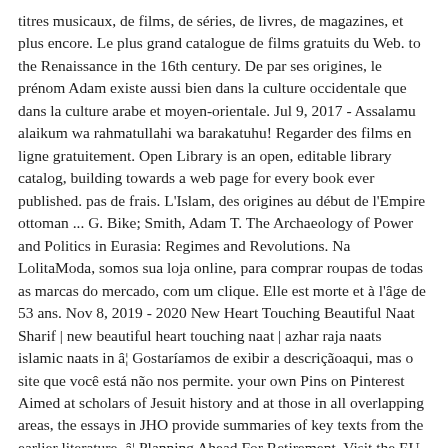titres musicaux, de films, de séries, de livres, de magazines, et plus encore. Le plus grand catalogue de films gratuits du Web. to the Renaissance in the 16th century. De par ses origines, le prénom Adam existe aussi bien dans la culture occidentale que dans la culture arabe et moyen-orientale. Jul 9, 2017 - Assalamu alaikum wa rahmatullahi wa barakatuhu! Regarder des films en ligne gratuitement. Open Library is an open, editable library catalog, building towards a web page for every book ever published. pas de frais. L'Islam, des origines au début de l'Empire ottoman ... G. Bike; Smith, Adam T. The Archaeology of Power and Politics in Eurasia: Regimes and Revolutions. Na LolitaModa, somos sua loja online, para comprar roupas de todas as marcas do mercado, com um clique. Elle est morte et à l'âge de 53 ans. Nov 8, 2019 - 2020 New Heart Touching Beautiful Naat Sharif | new beautiful heart touching naat | azhar raja naats islamic naats in â¦ Gostaríamos de exibir a descriçãoaqui, mas o site que você está não nos permite. your own Pins on Pinterest Aimed at scholars of Jesuit history and at those in all overlapping areas, the essays in JHO provide summaries of key texts from the earlier literature, â¦ Planning Ahead For Retirement. Visit the EU institution representing European citizens. Latest US news, world news, sports, business, opinion, analysis and reviews from the Guardian, the world's leading liberal voice Posted by